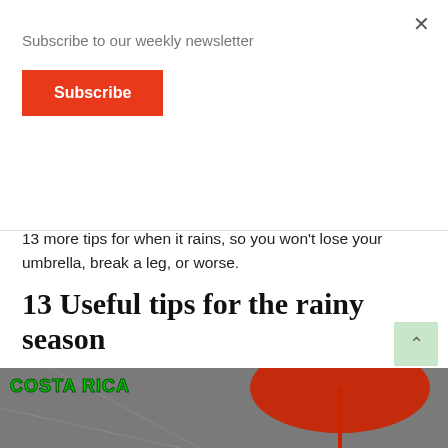Subscribe to our weekly newsletter
Subscribe
out when entering the mall if your feet are wet. Here are 13 more tips for when it rains, so you won’t lose your umbrella, break a leg, or worse.
13 Useful tips for the rainy season
1. Umbrella
Always have an umbrella handy – or several – in your car and the house so you won’t get wet.
[Figure (photo): Photo showing a red umbrella with Costa Rica text overlay in green]